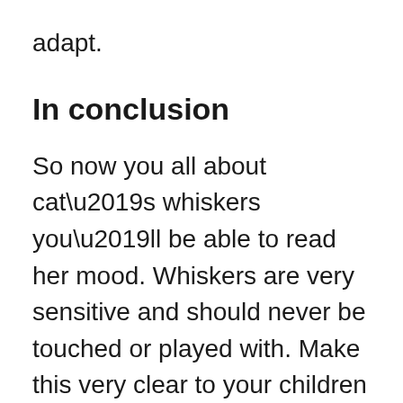adapt.
In conclusion
So now you all about cat’s whiskers you’ll be able to read her mood. Whiskers are very sensitive and should never be touched or played with. Make this very clear to your children if you have any.
Though most kids are loving towards pets, small children need guidance and supervision. A cat’s ability to balance